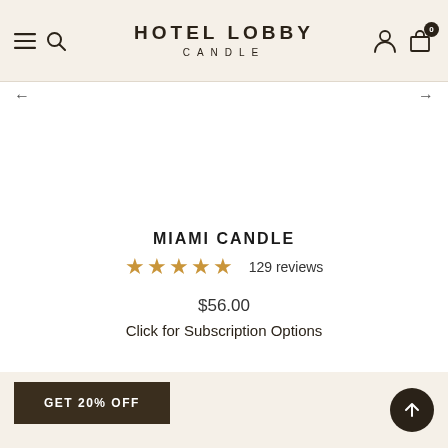HOTEL LOBBY CANDLE
← →
MIAMI CANDLE
★★★★★ 129 reviews
$56.00
Click for Subscription Options
GET 20% OFF